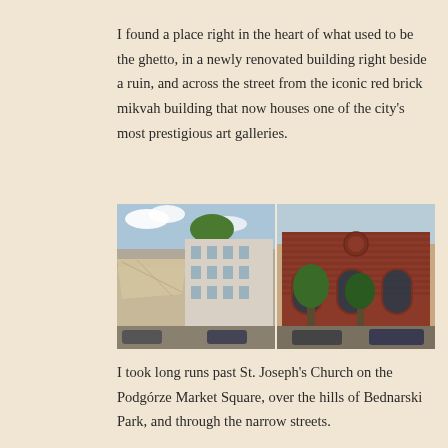I found a place right in the heart of what used to be the ghetto, in a newly renovated building right beside a ruin, and across the street from the iconic red brick mikvah building that now houses one of the city's most prestigious art galleries.
[Figure (photo): Two side-by-side photographs: left shows a ruined/draped building next to a renovated multi-story apartment block in Kraków's Podgórze district; right shows the red brick mikvah building with arched windows and trees in front, with cars parked outside.]
I took long runs past St. Joseph's Church on the Podgórze Market Square, over the hills of Bednarski Park, and through the narrow streets.